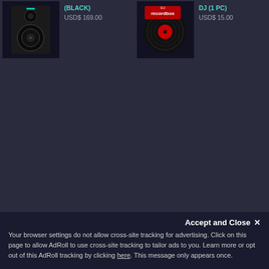[Figure (photo): Product image of a black studio monitor speaker]
(BLACK)
USD$ 169.00
[Figure (photo): Product image of a vinyl record with DJ branding]
DJ (1 PC)
USD$ 15.00
Accept and Close ✕
Your browser settings do not allow cross-site tracking for advertising. Click on this page to allow AdRoll to use cross-site tracking to tailor ads to you. Learn more or opt out of this AdRoll tracking by clicking here. This message only appears once.